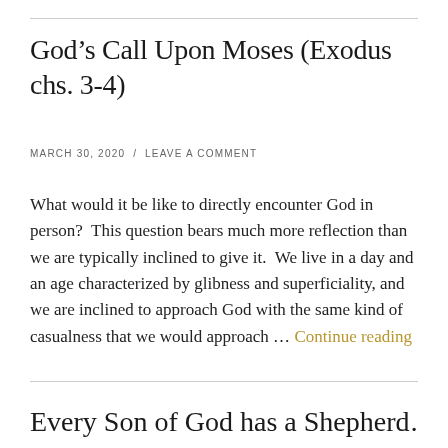God’s Call Upon Moses (Exodus chs. 3-4)
MARCH 30, 2020 / LEAVE A COMMENT
What would it be like to directly encounter God in person?  This question bears much more reflection than we are typically inclined to give it.  We live in a day and an age characterized by glibness and superficiality, and we are inclined to approach God with the same kind of casualness that we would approach … Continue reading
Every Son of God has a Shepherd…